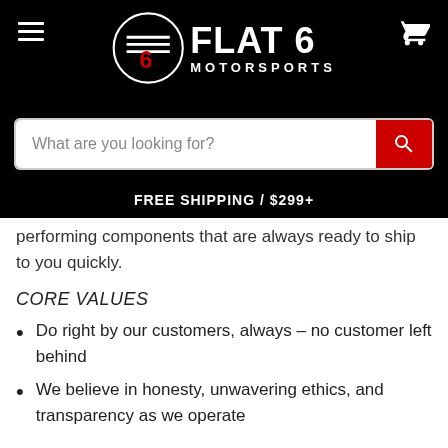[Figure (logo): Flat 6 Motorsports logo with circular emblem and text on black background, search bar, and FREE SHIPPING / $299+ text]
performing components that are always ready to ship to you quickly.
CORE VALUES
Do right by our customers, always – no customer left behind
We believe in honesty, unwavering ethics, and transparency as we operate